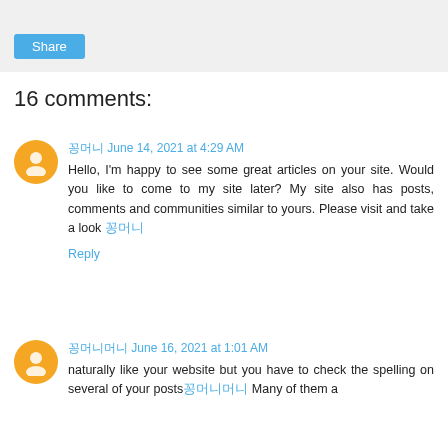[Figure (other): Share button area with light grey background and a blue Share button]
16 comments:
꽁머니  June 14, 2021 at 4:29 AM
Hello, I'm happy to see some great articles on your site. Would you like to come to my site later? My site also has posts, comments and communities similar to yours. Please visit and take a look 꽁머니
Reply
꽁머니머니  June 16, 2021 at 1:01 AM
naturally like your website but you have to check the spelling on several of your posts꽁머니머니 Many of them a